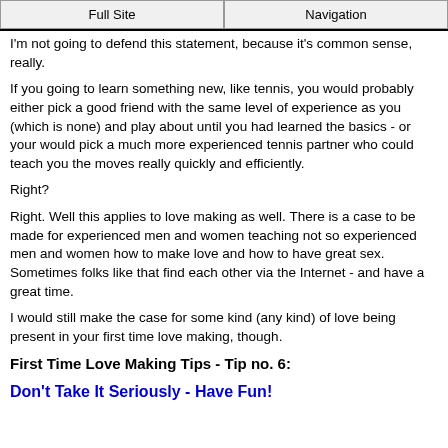Full Site | Navigation
I'm not going to defend this statement, because it's common sense, really.
If you going to learn something new, like tennis, you would probably either pick a good friend with the same level of experience as you (which is none) and play about until you had learned the basics - or your would pick a much more experienced tennis partner who could teach you the moves really quickly and efficiently.
Right?
Right. Well this applies to love making as well. There is a case to be made for experienced men and women teaching not so experienced men and women how to make love and how to have great sex. Sometimes folks like that find each other via the Internet - and have a great time.
I would still make the case for some kind (any kind) of love being present in your first time love making, though.
First Time Love Making Tips - Tip no. 6:
Don't Take It Seriously - Have Fun!